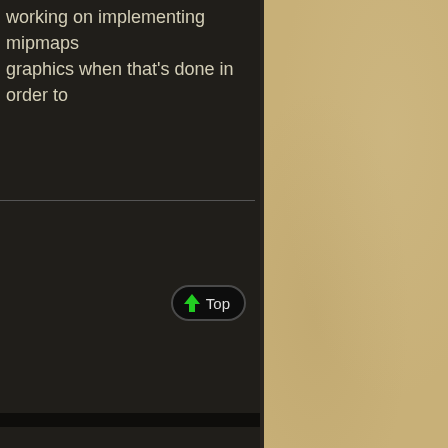working on implementing mipmaps graphics when that's done in order to
[Figure (screenshot): A dark-themed forum/wiki page showing a 'Top' button with a green upward arrow, and below it an anchor icon with a horizontal divider, followed by another post with text about widelands build 20 and a game screenshot showing a wheat field building with grass terrain.]